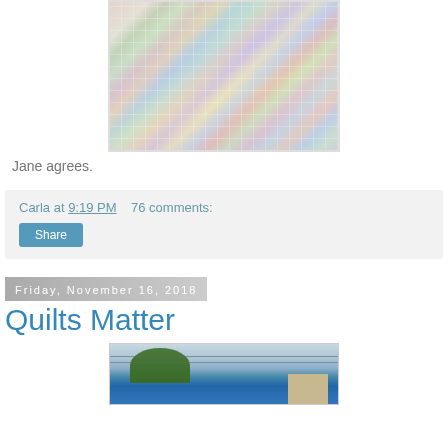[Figure (photo): A colorful patchwork quilt laid out on grass, photographed from above at an angle. The quilt has many small multicolored squares in various patterns.]
Jane agrees.
Carla at 9:19 PM    76 comments:
Share
Friday, November 16, 2018
Quilts Matter
[Figure (photo): Outdoor scene showing trees and power lines against a light sky, with a building visible on the right side. A blue structure is visible at the bottom.]